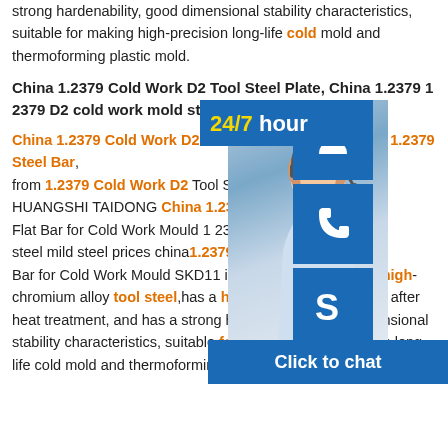strong hardenability, good dimensional stability characteristics, suitable for making high-precision long-life cold mold and thermoforming plastic mold.
China 1.2379 Cold Work D2 Tool Steel Plate, China 1.2379 1 2379 D2 cold work mold steel mild steel prices china
China 1.2379 Cold Work D2 Tool Steel... details about China 1.2379 Steel Bar, ... from 1.2379 Cold Work D2 Tool Steel... HUANGSHI TAIDONG China 1.2379 D... Flat Bar for Cold Work Mould 1 2379 D... steel mild steel prices china 1.2379 D2... Bar for Cold Work Mould SKD11 is a kind of high-carbon high-chromium alloy tool steel,has a high hardness of grinding after heat treatment, and has a strong hardenability, good dimensional stability characteristics, suitable for making high-precision long-life cold mold and thermoforming Plastic mold. 1.
[Figure (screenshot): Chat widget overlay with 24/7 hour banner, customer service photo, phone icon box, Skype icon box, and Click to chat bar]